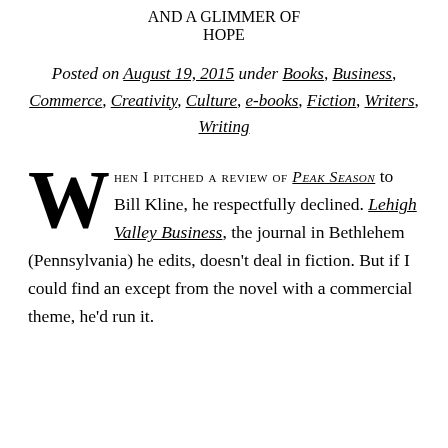AND A GLIMMER OF HOPE
Posted on August 19, 2015 under Books, Business, Commerce, Creativity, Culture, e-books, Fiction, Writers, Writing
When I pitched a review of Peak Season to Bill Kline, he respectfully declined. Lehigh Valley Business, the journal in Bethlehem (Pennsylvania) he edits, doesn't deal in fiction. But if I could find an except from the novel with a commercial theme, he'd run it.